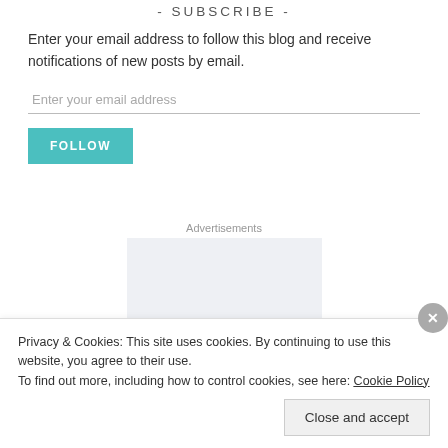- SUBSCRIBE -
Enter your email address to follow this blog and receive notifications of new posts by email.
Enter your email address
FOLLOW
Advertisements
[Figure (other): Light blue advertisement placeholder box]
Privacy & Cookies: This site uses cookies. By continuing to use this website, you agree to their use.
To find out more, including how to control cookies, see here: Cookie Policy
Close and accept